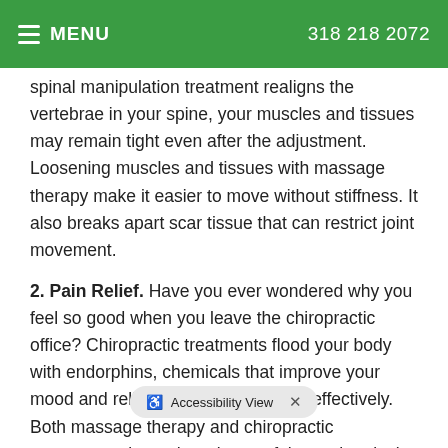MENU   318 218 2072
spinal manipulation treatment realigns the vertebrae in your spine, your muscles and tissues may remain tight even after the adjustment. Loosening muscles and tissues with massage therapy make it easier to move without stiffness. It also breaks apart scar tissue that can restrict joint movement.
2. Pain Relief. Have you ever wondered why you feel so good when you leave the chiropractic office? Chiropractic treatments flood your body with endorphins, chemicals that improve your mood and relieve pain naturally and effectively. Both massage therapy and chiropractic treatments trigger the release of these chemicals. Thanks to your treatments, you may be able to reduce the amount of pain medication you take.